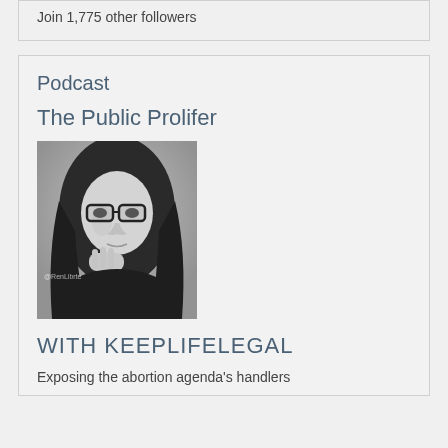Join 1,775 other followers
Podcast
The Public Prolifer
[Figure (photo): Black and white portrait photo of a woman with long dark hair and glasses, hand near chin, with watermark '@RenLibrte']
WITH KEEPLIFELEGAL
Exposing the abortion agenda's handlers